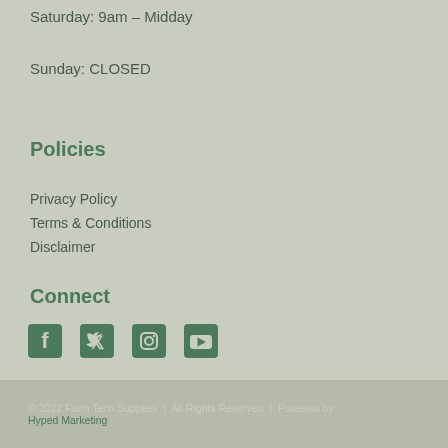Saturday: 9am – Midday
Sunday: CLOSED
Policies
Privacy Policy
Terms & Conditions
Disclaimer
Connect
[Figure (infographic): Social media icons: Facebook, Twitter, Instagram, YouTube]
© 2022 Farm Tech Supplies  |  All Rights Reserved  |  Powered by Hyped Marketing